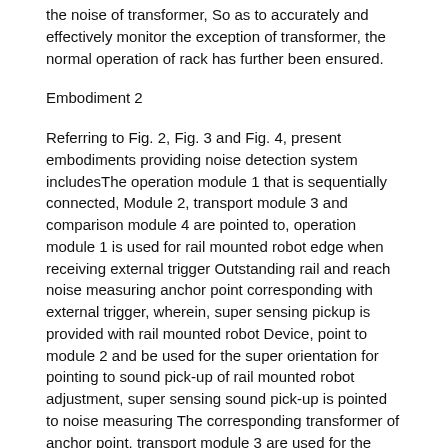the noise of transformer, So as to accurately and effectively monitor the exception of transformer, the normal operation of rack has further been ensured.
Embodiment 2
Referring to Fig. 2, Fig. 3 and Fig. 4, present embodiments providing noise detection system includesThe operation module 1 that is sequentially connected, Module 2, transport module 3 and comparison module 4 are pointed to, operation module 1 is used for rail mounted robot edge when receiving external trigger Outstanding rail and reach noise measuring anchor point corresponding with external trigger, wherein, super sensing pickup is provided with rail mounted robot Device, point to module 2 and be used for the super orientation for pointing to sound pick-up of rail mounted robot adjustment, super sensing sound pick-up is pointed to noise measuring The corresponding transformer of anchor point, transport module 3 are used for the super sound pick-up that points to and are sent the noise collected by WLAN To noise processor, comparison module 4 is used for the size that noise processor compares noise and the standard noise value prestored, abnormal Display module 5 is used for when noise